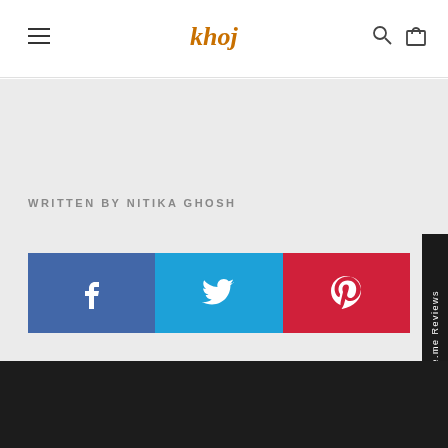khoj [logo] — navigation bar with hamburger menu, search, and cart icons
WRITTEN BY NITIKA GHOSH
[Figure (infographic): Social share buttons: Facebook (blue), Twitter (cyan), Pinterest (red), each with their respective icons]
FACTS WITH KHOJ: KOLKATA BY HARLEEN KAUR